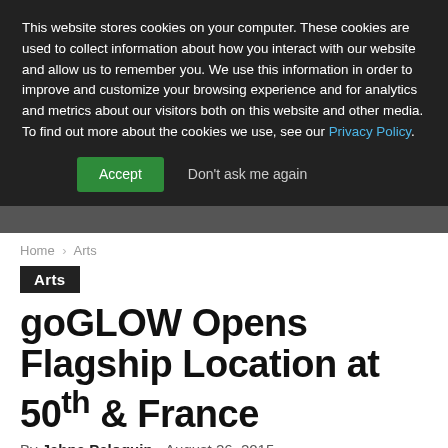This website stores cookies on your computer. These cookies are used to collect information about how you interact with our website and allow us to remember you. We use this information in order to improve and customize your browsing experience and for analytics and metrics about our visitors both on this website and other media. To find out more about the cookies we use, see our Privacy Policy.
Accept | Don't ask me again
Home › Arts
Arts
goGLOW Opens Flagship Location at 50th & France
By Jahna Peloquin - August 26, 2015
[Social share buttons: Facebook, Twitter, Pinterest, Email, WhatsApp, LinkedIn]
When she founded mobile business goGLOW in 2010, Aveda Institute-trained makeup artist Melanie